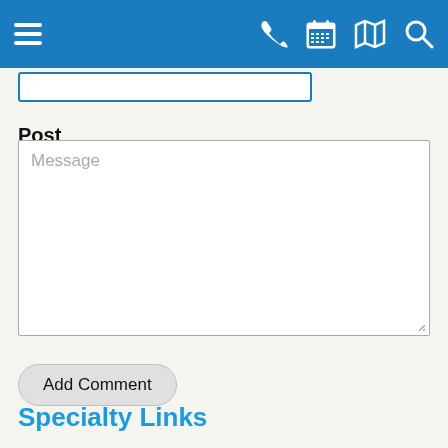[Figure (screenshot): Blue navigation bar with hamburger menu on left and icons (phone, calendar, map, search) on right in white]
Post
[Figure (screenshot): Message textarea input field with placeholder text 'Message']
Add Comment
Specialty Links
Family Dental Care
Crowns & Bridges
Fillings
[Figure (screenshot): Two icon buttons at bottom: a teal 'our' button and a Facebook button]